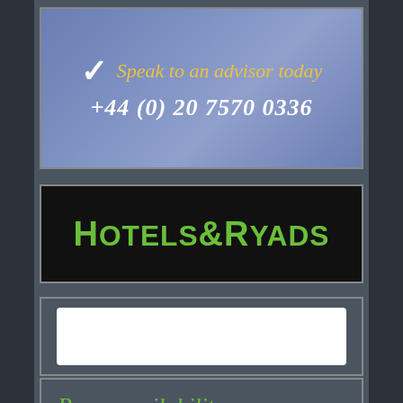[Figure (other): Banner with checkmark icon, italic text 'Speak to an advisor today' in gold/yellow and phone number '+44 (0) 20 7570 0336' in white on a blue-purple gradient background]
[Figure (logo): Hotels&Ryads logo: green text on black background reading 'Hotels&Ryads']
[Figure (other): White rectangular input/search box on dark grey background]
Room availability search